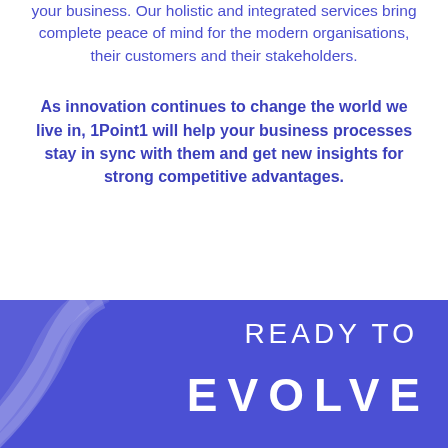your business. Our holistic and integrated services bring complete peace of mind for the modern organisations, their customers and their stakeholders.
As innovation continues to change the world we live in, 1Point1 will help your business processes stay in sync with them and get new insights for strong competitive advantages.
[Figure (illustration): Blue banner with decorative wave curves on the left and bold white text reading 'READY TO EVOLVE']